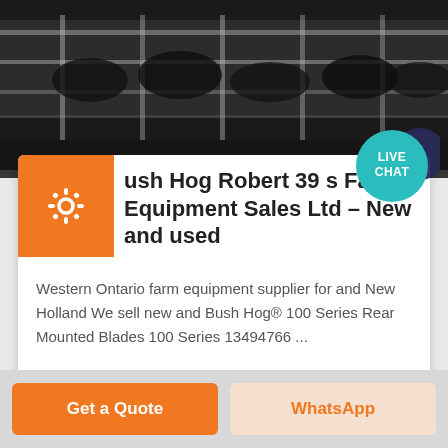[Figure (photo): Photo of cattle in stalls/barn, dark industrial farm setting viewed from above at angle]
Bush Hog Robert 39 s Farm Equipment Sales Ltd – New and used
Western Ontario farm equipment supplier for and New Holland We sell new and Bush Hog® 100 Series Rear Mounted Blades 100 Series 13494766 ...
Get a Quote
WhatsApp